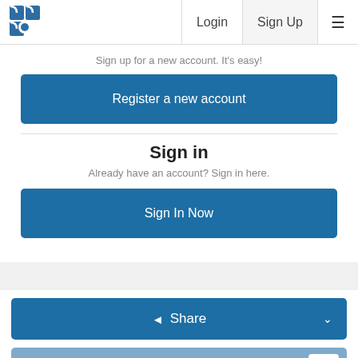Login  Sign Up  ≡
Sign up for a new account. It's easy!
Register a new account
Sign in
Already have an account? Sign in here.
Sign In Now
Share
Followers  0